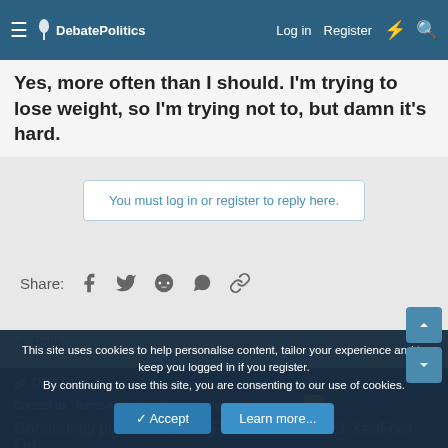DebatePolitics | Log in | Register
Yes, more often than I should. I'm trying to lose weight, so I'm trying not to, but damn it's hard.
You must log in or register to reply here.
Share:
< Polls
DP 3.0
Contact us | Terms and rules | Privacy policy | Help | Home
Community platform by XenForo® © 2010-2021 XenForo Ltd.
Awards System by AddonFlare - Premium XF2 Addons
| Add-ons by ThemeHouse | Media embeds via s9e/MediaSites
This site uses cookies to help personalise content, tailor your experience and to keep you logged in if you register.
By continuing to use this site, you are consenting to our use of cookies.